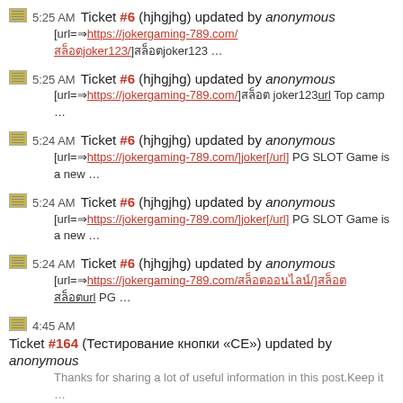5:25 AM Ticket #6 (hjhgjhg) updated by anonymous [url=https://jokergaming-789.com/สล็อตjoker123/]สล็อตjoker123 …
5:25 AM Ticket #6 (hjhgjhg) updated by anonymous [url=https://jokergaming-789.com/]สล็อต joker123url Top camp …
5:24 AM Ticket #6 (hjhgjhg) updated by anonymous [url=https://jokergaming-789.com/]joker[/url] PG SLOT Game is a new …
5:24 AM Ticket #6 (hjhgjhg) updated by anonymous [url=https://jokergaming-789.com/]joker[/url] PG SLOT Game is a new …
5:24 AM Ticket #6 (hjhgjhg) updated by anonymous [url=https://jokergaming-789.com/สล็อตออนไลน์/]สล็อต สล็อตurl PG …
4:45 AM Ticket #164 (Тестирование кнопки «СЕ») updated by anonymous Thanks for sharing a lot of useful information in this post.Keep it …